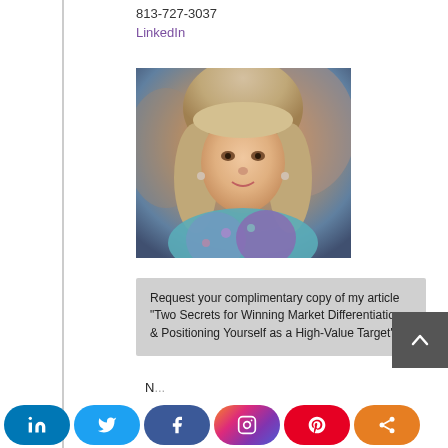813-727-3037
LinkedIn
[Figure (photo): Portrait photo of a woman with blonde/gray hair, blue-green scarf, smiling, in an indoor setting]
Request your complimentary copy of my article "Two Secrets for Winning Market Differentiation & Positioning Yourself as a High-Value Target"
N...
[Figure (other): Social media share buttons bar: LinkedIn, Twitter, Facebook, Instagram, Pinterest, Share]